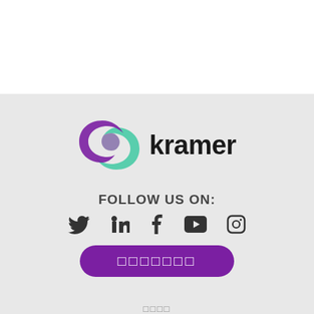[Figure (logo): Kramer logo with interlocking rings in purple and teal, with the word 'kramer' in dark text]
FOLLOW US ON:
[Figure (illustration): Social media icons: Twitter, LinkedIn, Facebook, YouTube, Instagram]
[Figure (illustration): Purple rounded button with placeholder text (squares)]
□□□□